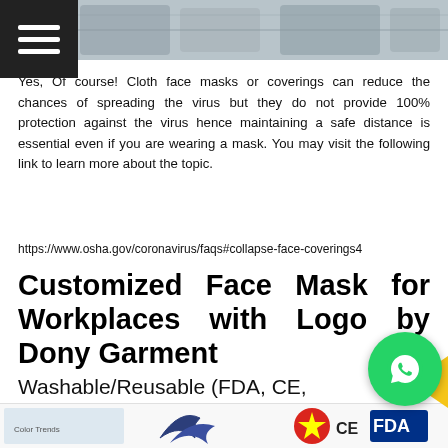[Figure (photo): Top photo strip showing face masks or workplace equipment in grey/white tones]
Yes, Of course! Cloth face masks or coverings can reduce the chances of spreading the virus but they do not provide 100% protection against the virus hence maintaining a safe distance is essential even if you are wearing a mask. You may visit the following link to learn more about the topic.
https://www.osha.gov/coronavirus/faqs#collapse-face-coverings4
Customized Face Mask for Workplaces with Logo by Dony Garment
Washable/Reusable (FDA, CE, TUV REACH)
Dony Mask Introdution
[Figure (logo): Bottom strip with Color Trends label, a bird/arrow logo, Vietnamese flag with CE and FDA certification logos]